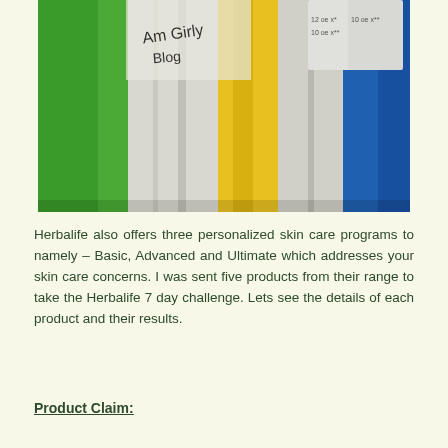[Figure (photo): A photograph showing several folded fabric or bag items hanging on a wall, displayed in green, white, yellow, and blue colors. Some have labels/tags and handwritten text visible.]
Herbalife also offers three personalized skin care programs to namely – Basic, Advanced and Ultimate which addresses your skin care concerns. I was sent five products from their range to take the Herbalife 7 day challenge. Lets see the details of each product and their results.
Product Claim: